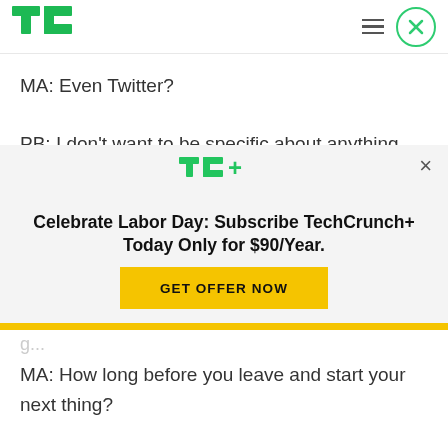TechCrunch header with logo, hamburger menu, and close button
MA: Even Twitter?
PB: I don't want to be specific about anything, all the companies involved have confidentiality
[Figure (screenshot): TechCrunch+ subscription modal overlay with TC+ logo, promotion text 'Celebrate Labor Day: Subscribe TechCrunch+ Today Only for $90/Year.' and 'GET OFFER NOW' button]
MA: How long before you leave and start your next thing?